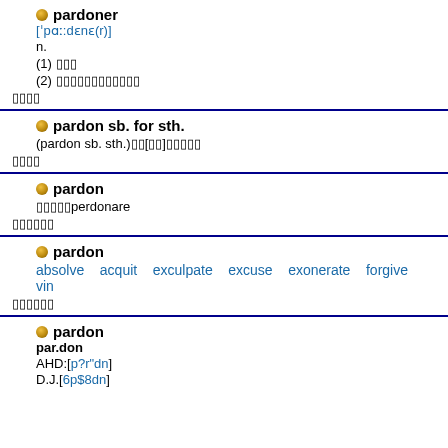pardoner [ˈpɑːdənə(r)] n. (1) 赦罪者 (2) 出售赦罪券者 赦罪者
pardon sb. for sth. (pardon sb. sth.)原谅[宽恕]某人某事 例句
pardon 源自perdonare 词源
pardon absolve acquit exculpate excuse exonerate forgive vin... 近义词
pardon par.don AHD:[p?r"dn] D.J.[6p$8dn]